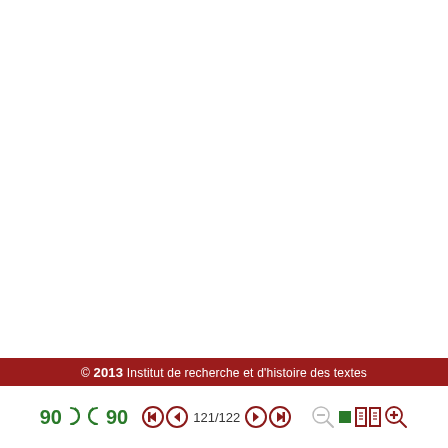© 2013 Institut de recherche et d'histoire des textes
[Figure (screenshot): PDF viewer toolbar with rotation buttons (90° clockwise and counter-clockwise in green), navigation buttons (first, previous, next, last in dark red), page number display showing 121/122, and zoom controls (zoom out, fit page, two-page view, zoom in) in dark red/green.]